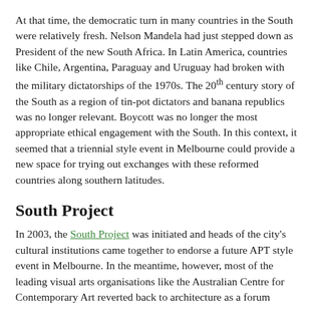At that time, the democratic turn in many countries in the South were relatively fresh. Nelson Mandela had just stepped down as President of the new South Africa. In Latin America, countries like Chile, Argentina, Paraguay and Uruguay had broken with the military dictatorships of the 1970s. The 20th century story of the South as a region of tin-pot dictators and banana republics was no longer relevant. Boycott was no longer the most appropriate ethical engagement with the South. In this context, it seemed that a triennial style event in Melbourne could provide a new space for trying out exchanges with these reformed countries along southern latitudes.
South Project
In 2003, the South Project was initiated and heads of the city's cultural institutions came together to endorse a future APT style event in Melbourne. In the meantime, however, most of the leading visual arts organisations like the Australian Centre for Contemporary Art reverted back to architecture as a forum